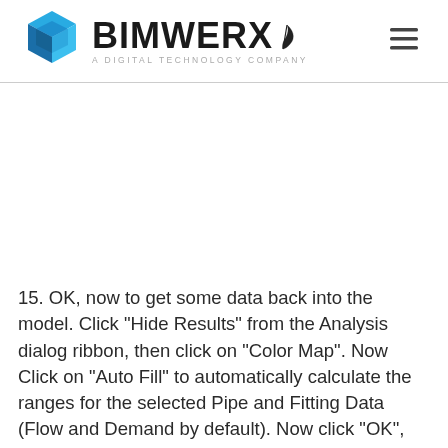BIMWERX A DIGITAL TECHNOLOGY COMPANY
15. OK, now to get some data back into the model. Click "Hide Results" from the Analysis dialog ribbon, then click on "Color Map". Now Click on "Auto Fill" to automatically calculate the ranges for the selected Pipe and Fitting Data (Flow and Demand by default). Now click "OK", the C3D model is updated!